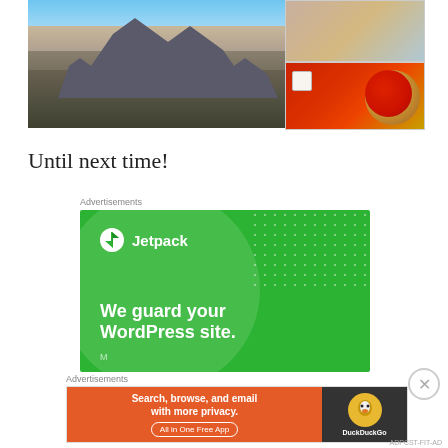[Figure (photo): Photo collage: large photo of Milan Cathedral (Duomo di Milano) with person in foreground, top-right smaller photo of Galleria Vittorio Emanuele II arcade, bottom-right photo of pizza with coffee cup on red tablecloth]
Until next time!
Advertisements
[Figure (screenshot): Jetpack advertisement on green background with text 'We guard your WordPress site.' and Jetpack logo]
Advertisements
[Figure (screenshot): DuckDuckGo advertisement: orange left panel with 'Search, browse, and email with more privacy. All in One Free App' and dark right panel with DuckDuckGo logo]
ADPCST-FIT-AD